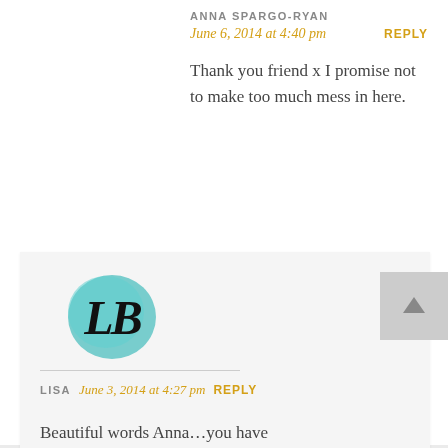ANNA SPARGO-RYAN
June 6, 2014 at 4:40 pm
REPLY
Thank you friend x I promise not to make too much mess in here.
[Figure (logo): Circular teal watercolor logo with stylized LB monogram in black script]
LISA
June 3, 2014 at 4:27 pm
REPLY
Beautiful words Anna…you have